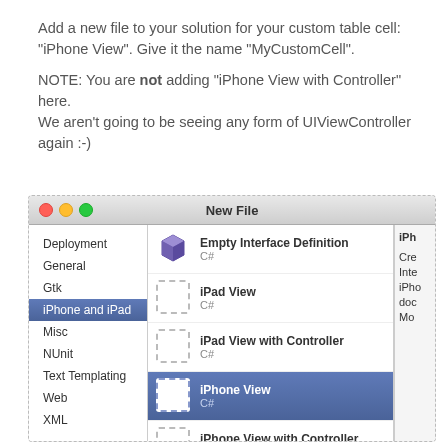Add a new file to your solution for your custom table cell: "iPhone View". Give it the name "MyCustomCell".
NOTE: You are not adding "iPhone View with Controller" here. We aren't going to be seeing any form of UIViewController again :-)
[Figure (screenshot): Screenshot of Xcode/MonoDevelop 'New File' dialog. Left panel lists: Deployment, General, Gtk, iPhone and iPad (selected), Misc, NUnit, Text Templating, Web, XML. Middle panel shows file templates: Empty Interface Definition (C#), iPad View (C#), iPad View with Controller (C#), iPhone View (C# - selected/highlighted), iPhone View with Controller (C#), Property List (C#). Right panel partially visible with 'iPh...' text.]